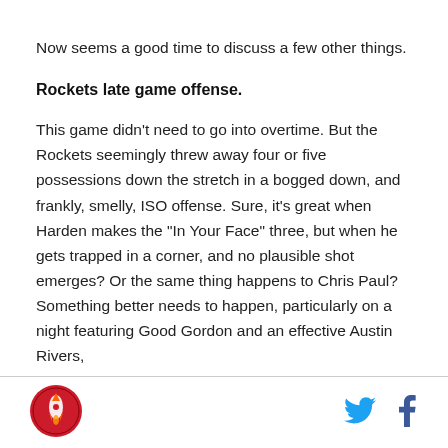Now seems a good time to discuss a few other things.
Rockets late game offense.
This game didn’t need to go into overtime. But the Rockets seemingly threw away four or five possessions down the stretch in a bogged down, and frankly, smelly, ISO offense. Sure, it’s great when Harden makes the “In Your Face” three, but when he gets trapped in a corner, and no plausible shot emerges? Or the same thing happens to Chris Paul? Something better needs to happen, particularly on a night featuring Good Gordon and an effective Austin Rivers,
[Figure (logo): Rockets circular logo with red background and team emblem]
[Figure (logo): Twitter bird icon in cyan blue]
[Figure (logo): Facebook f icon in dark blue]